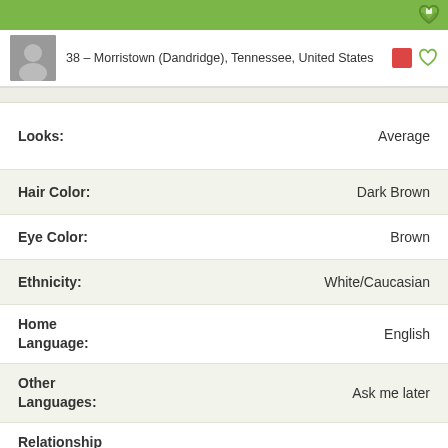38 – Morristown (Dandridge), Tennessee, United States
Looks: Average
Hair Color: Dark Brown
Eye Color: Brown
Ethnicity: White/Caucasian
Home Language: English
Other Languages: Ask me later
Relationship Status: Divorced